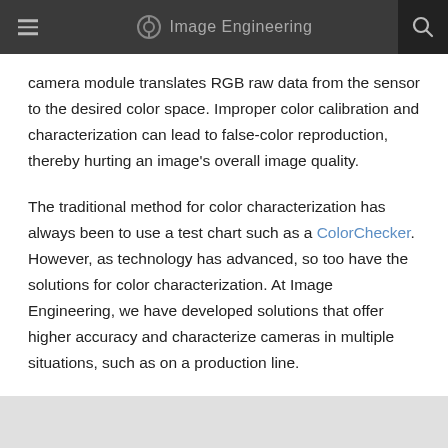Image Engineering
camera module translates RGB raw data from the sensor to the desired color space. Improper color calibration and characterization can lead to false-color reproduction, thereby hurting an image's overall image quality.
The traditional method for color characterization has always been to use a test chart such as a ColorChecker. However, as technology has advanced, so too have the solutions for color characterization. At Image Engineering, we have developed solutions that offer higher accuracy and characterize cameras in multiple situations, such as on a production line.